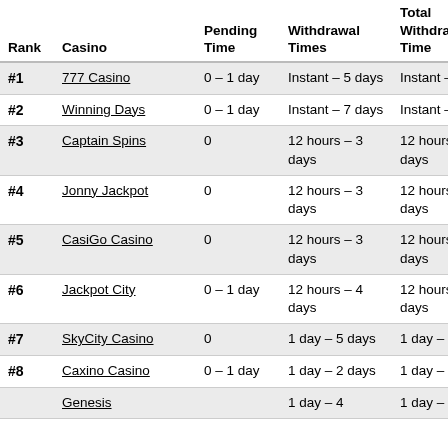| Rank | Casino | Pending Time | Withdrawal Times | Total Withdrawal Time |
| --- | --- | --- | --- | --- |
| #1 | 777 Casino | 0 – 1 day | Instant – 5 days | Instant – 6 days |
| #2 | Winning Days | 0 – 1 day | Instant – 7 days | Instant – 8 days |
| #3 | Captain Spins | 0 | 12 hours – 3 days | 12 hours – 3 days |
| #4 | Jonny Jackpot | 0 | 12 hours – 3 days | 12 hours – 3 days |
| #5 | CasiGo Casino | 0 | 12 hours – 3 days | 12 hours – 3 days |
| #6 | Jackpot City | 0 – 1 day | 12 hours – 4 days | 12 hours – 5 days |
| #7 | SkyCity Casino | 0 | 1 day – 5 days | 1 day – 5 days |
| #8 | Caxino Casino | 0 – 1 day | 1 day – 2 days | 1 day – 3 days |
|  | Genesis | 1 day – 4 | 1 day – 5 |